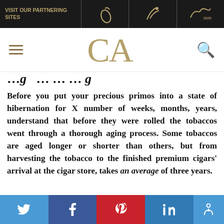VISIT OUR PARTNERING SITES
CA
Before you put your precious primos into a state of hibernation for X number of weeks, months, years, understand that before they were rolled the tobaccos went through a thorough aging process. Some tobaccos are aged longer or shorter than others, but from harvesting the tobacco to the finished premium cigars’ arrival at the cigar store, takes an average of three years.
Social share bar: Twitter, Facebook, Pinterest, LinkedIn, Accessible